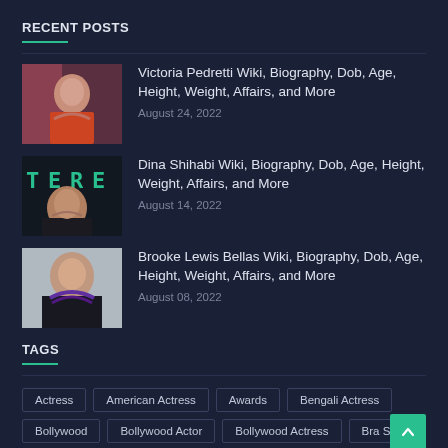RECENT POSTS
Victoria Pedretti Wiki, Biography, Dob, Age, Height, Weight, Affairs, and More — August 24, 2022
Dina Shihabi Wiki, Biography, Dob, Age, Height, Weight, Affairs, and More — August 14, 2022
Brooke Lewis Bellas Wiki, Biography, Dob, Age, Height, Weight, Affairs, and More — August 08, 2022
TAGS
Actress
American Actress
Awards
Bengali Actress
Bollywood
Bollywood Actor
Bollywood Actress
Bra Size